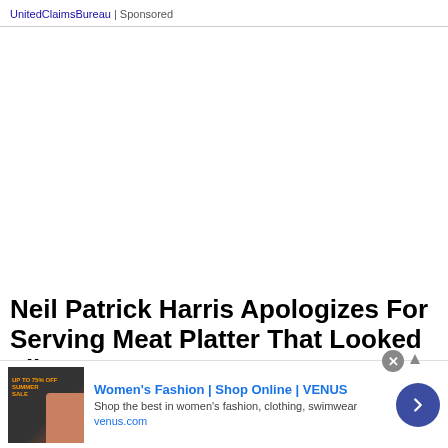UnitedClaimsBureau | Sponsored
Neil Patrick Harris Apologizes For Serving Meat Platter That Looked Like Amy...
Neil Patrick Harris officially apologizes after viral image of
[Figure (screenshot): Advertisement banner for Women's Fashion | Shop Online | VENUS with sale image thumbnail, text 'Shop the best in women's fashion, clothing, swimwear', domain 'venus.com', and a blue circular arrow button]